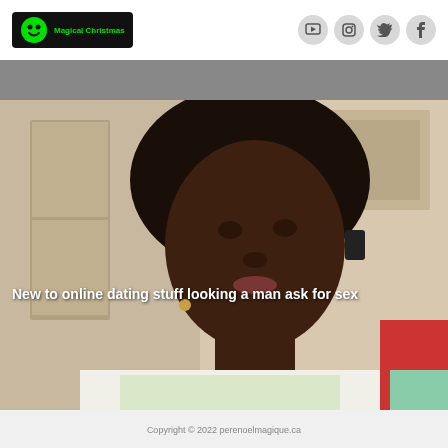[Figure (logo): Magical Christmas logo with green smiley face on black background]
[Figure (illustration): Social media icons: YouTube, Instagram, Twitter, Facebook as gray circular buttons]
[Figure (photo): Photo of a woman looking at camera with text overlay 'New to online dating stuff looking a man ask for sex']
New to online dating stuff looking a man ask for sex
Copyright © 2022 perenoelmagique.ca